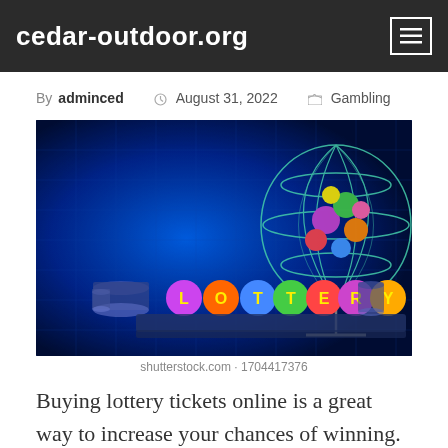cedar-outdoor.org
By adminced  August 31, 2022  Gambling
[Figure (photo): Lottery balls spelling LOTTERY in front of a bingo cage filled with colorful numbered balls, set against a dark blue background. Stock image from shutterstock.com, image ID 1704417376.]
shutterstock.com · 1704417376
Buying lottery tickets online is a great way to increase your chances of winning. But beware of